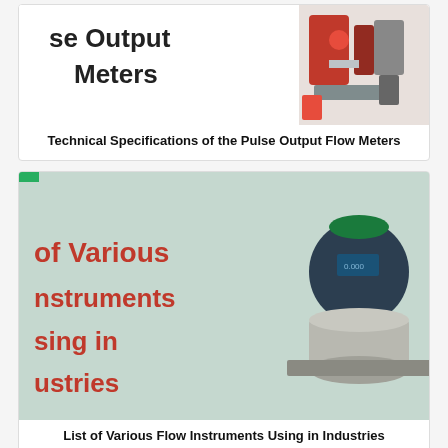[Figure (photo): Card showing partial text 'se Output Meters' with a red industrial flow meter image on the right]
Technical Specifications of the Pulse Output Flow Meters
[Figure (photo): Card showing partial red text 'of Various Instruments using in dustries' with a vortex flow meter instrument photo on the right, on a teal/mint background]
List of Various Flow Instruments Using in Industries
[Figure (engineering-diagram): Card showing a labeled engineering diagram titled 'Working Principle of Vortex Type Fl...' with a vortex flow meter with callout labels: NI, Available Si, Simple C, Bar Bar, and other partially visible labels]